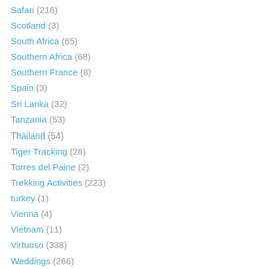Safari (216)
Scotland (3)
South Africa (65)
Southern Africa (68)
Southern France (8)
Spain (3)
Sri Lanka (32)
Tanzania (53)
Thailand (54)
Tiger Tracking (28)
Torres del Paine (2)
Trekking Activities (223)
turkey (1)
Vienna (4)
Vietnam (11)
Virtuoso (338)
Weddings (266)
Zimbabwe (16)